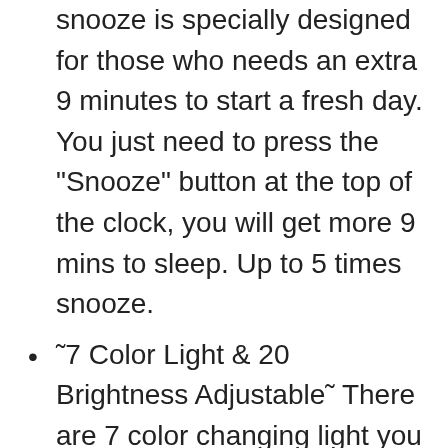snooze is specially designed for those who needs an extra 9 minutes to start a fresh day. You just need to press the "Snooze" button at the top of the clock, you will get more 9 mins to sleep. Up to 5 times snooze.
7 Color Light & 20 Brightness Adjustable There are 7 color changing light you can choose, include blue, indigo, purple, red, orange, yellow, green. 3 level LED time display brightness & 20 level lighting brightness adjustable.
FM Radio & 7 Alarm SoundsIt will